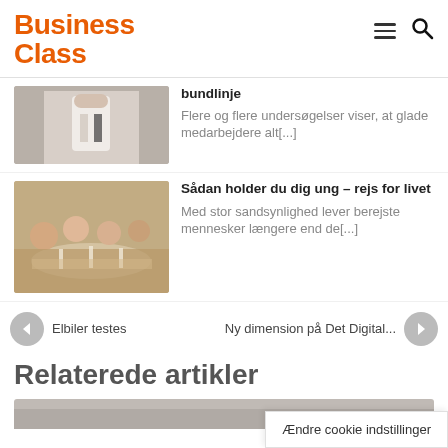Business Class
bundlinje
Flere og flere undersøgelser viser, at glade medarbejdere alt[...]
[Figure (photo): Person in white shirt standing, cropped at waist]
[Figure (photo): Group of people dining outdoors at a table]
Sådan holder du dig ung – rejs for livet
Med stor sandsynlighed lever berejste mennesker længere end de[...]
Elbiler testes
Ny dimension på Det Digital...
Relaterede artikler
[Figure (photo): Partial image at bottom, cut off]
Ændre cookie indstillinger